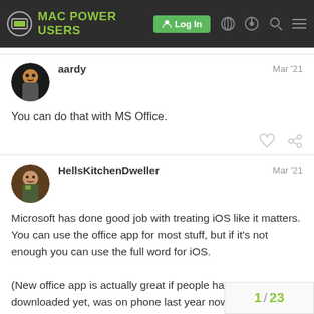MAC POWER USERS — Log In
aardy   Mar '21
You can do that with MS Office.
HellsKitchenDweller   Mar '21
Microsoft has done good job with treating iOS like it matters. You can use the office app for most stuff, but if it's not enough you can use the full word for iOS.

(New office app is actually great if people have not downloaded yet, was on phone last year now on iPad)
1 / 23